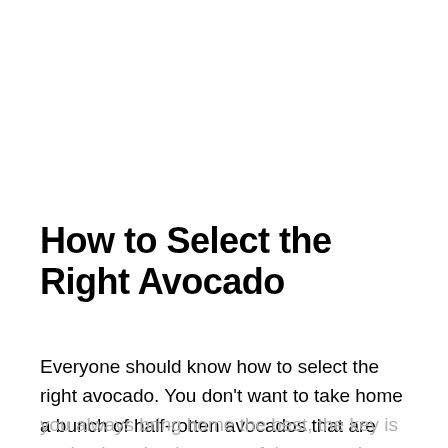How to Select the Right Avocado
Everyone should know how to select the right avocado. You don't want to take home a bunch of half-rotten avocados that are ugly and brown on the inside rather than green and creamy. To ensure you always bring home the best, the key is to check under the stem of the avocado.